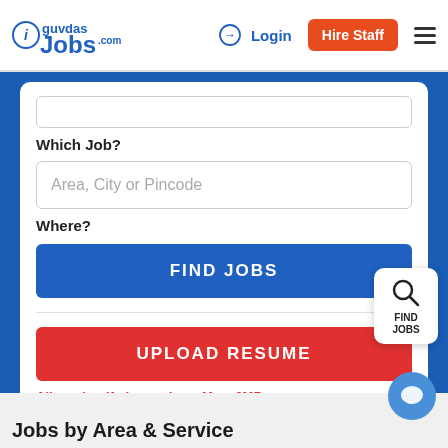guvdasJobs.com — Login — Hire Staff
Which Job?
Area, City or Pincode
Where?
FIND JOBS
UPLOAD RESUME
Allowed: pdf, doc or docx. Max: 2MB
[Figure (other): Find Jobs floating action button with search icon]
[Figure (other): Chat bubble button in bottom right]